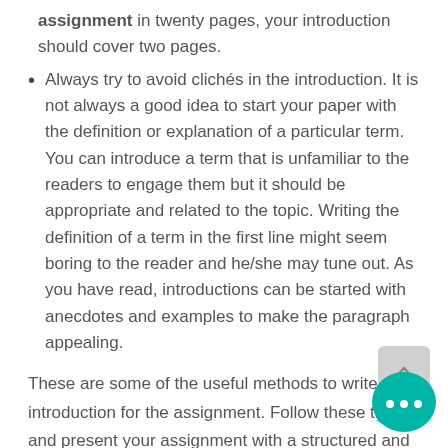assignment in twenty pages, your introduction should cover two pages.
Always try to avoid clichés in the introduction. It is not always a good idea to start your paper with the definition or explanation of a particular term. You can introduce a term that is unfamiliar to the readers to engage them but it should be appropriate and related to the topic. Writing the definition of a term in the first line might seem boring to the reader and he/she may tune out. As you have read, introductions can be started with anecdotes and examples to make the paragraph appealing.
These are some of the useful methods to write the introduction for the assignment. Follow these tips and present your assignment with a structured and effective introduction. It is important to understand that how crucial an introduction is to the paper. Most of the students fail to score the desired result because they do